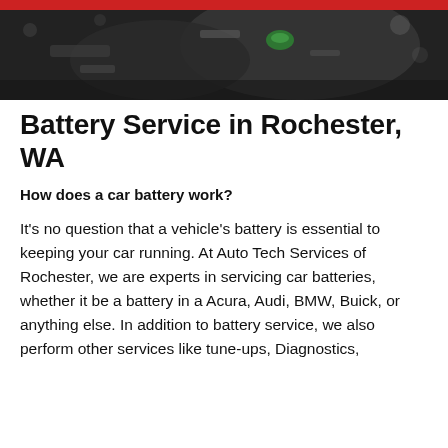[Figure (photo): Close-up photo of a car engine bay, showing mechanical components, dark and blurry background with a green cap visible.]
Battery Service in Rochester, WA
How does a car battery work?
It's no question that a vehicle's battery is essential to keeping your car running. At Auto Tech Services of Rochester, we are experts in servicing car batteries, whether it be a battery in a Acura, Audi, BMW, Buick, or anything else. In addition to battery service, we also perform other services like tune-ups, Diagnostics,